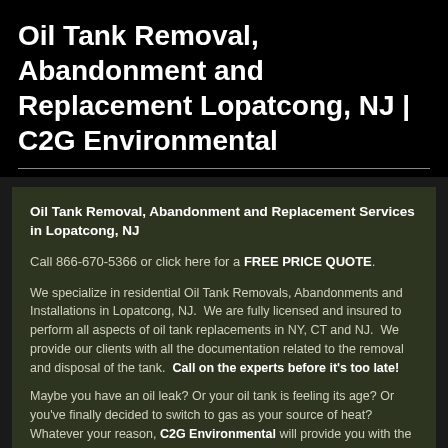Oil Tank Removal, Abandonment and Replacement Lopatcong, NJ | C2G Environmental
Oil Tank Removal, Abandonment and Replacement Services in Lopatcong, NJ
Call 866-670-5366 or click here for a FREE PRICE QUOTE.
We specialize in residential Oil Tank Removals, Abandonments and Installations in Lopatcong, NJ. We are fully licensed and insured to perform all aspects of oil tank replacements in NY, CT and NJ. We provide our clients with all the documentation related to the removal and disposal of the tank. Call on the experts before it’s too late!
Maybe you have an oil leak? Or your oil tank is feeling its age? Or you’ve finally decided to switch to gas as your source of heat? Whatever your reason, C2G Environmental will provide you with the most professional Oil Tank